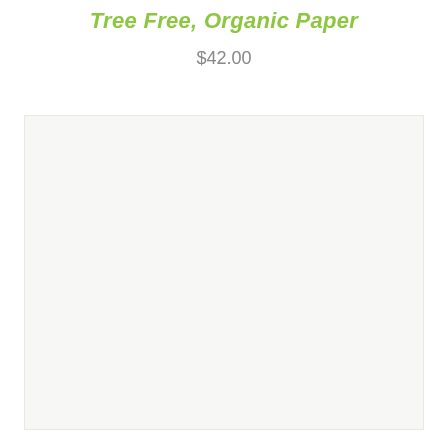Tree Free, Organic Paper
$42.00
[Figure (photo): Large light-colored product image area showing Tree Free Organic Paper product, displayed against a near-white background with a subtle border.]